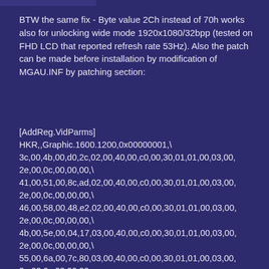BTW the same fix - Byte value 2Ch instead of 70h works also for unlocking wide mode 1920x1080/32bpp (tested on FHD LCD that reported refresh rate 53Hz). Also the patch can be made before installation by modification of MGAU.INF by patching section:
[AddReg.VidParms]
HKR,,Graphic.1600.1200,0x00000001,\
3c,00,4b,00,d0,2c,02,00,40,00,c0,00,30,01,01,00,03,00,2e,00,0c,00,00,00,\
41,00,51,00,8c,ad,02,00,40,00,c0,00,30,01,01,00,03,00,2e,00,0c,00,00,00,\
46,00,58,00,48,e2,02,00,40,00,c0,00,30,01,01,00,03,00,2e,00,0c,00,00,00,\
4b,00,5e,00,04,17,03,00,40,00,c0,00,30,01,01,00,03,00,2e,00,0c,00,00,00,\
55,00,6a,00,7c,80,03,00,40,00,c0,00,30,01,01,00,03,00,2e,00,0c,00,00,00